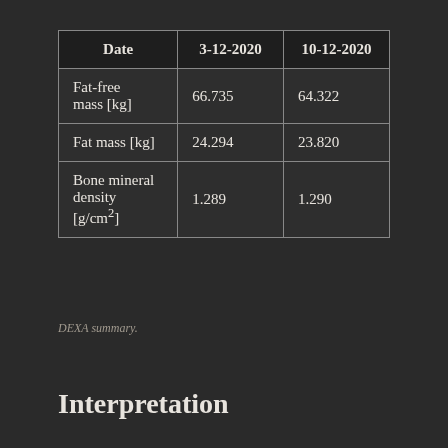| Date | 3-12-2020 | 10-12-2020 |
| --- | --- | --- |
| Fat-free mass [kg] | 66.735 | 64.322 |
| Fat mass [kg] | 24.294 | 23.820 |
| Bone mineral density [g/cm²] | 1.289 | 1.290 |
DEXA summary.
Interpretation